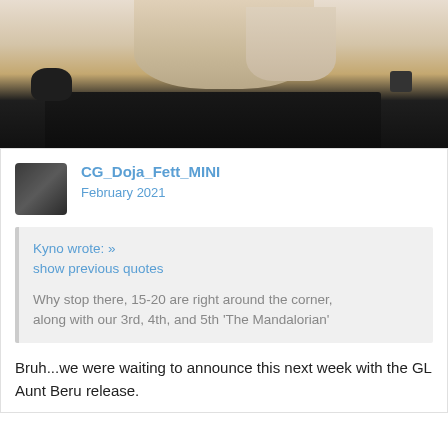[Figure (photo): A person's hands hovering over an RGB mechanical keyboard with a mouse visible to the left, shot from a slightly elevated angle]
CG_Doja_Fett_MINI
February 2021
Kyno wrote: »
show previous quotes

Why stop there, 15-20 are right around the corner, along with our 3rd, 4th, and 5th 'The Mandalorian'
Bruh...we were waiting to announce this next week with the GL Aunt Beru release.